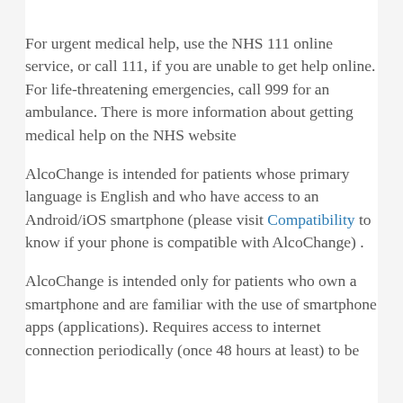For urgent medical help, use the NHS 111 online service, or call 111, if you are unable to get help online. For life-threatening emergencies, call 999 for an ambulance. There is more information about getting medical help on the NHS website
AlcoChange is intended for patients whose primary language is English and who have access to an Android/iOS smartphone (please visit Compatibility to know if your phone is compatible with AlcoChange) .
AlcoChange is intended only for patients who own a smartphone and are familiar with the use of smartphone apps (applications). Requires access to internet connection periodically (once 48 hours at least) to be